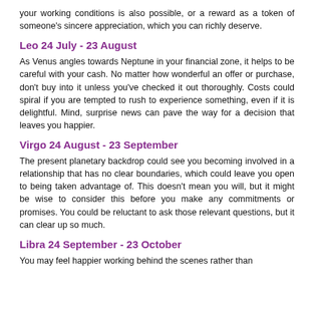your working conditions is also possible, or a reward as a token of someone's sincere appreciation, which you can richly deserve.
Leo 24 July - 23 August
As Venus angles towards Neptune in your financial zone, it helps to be careful with your cash. No matter how wonderful an offer or purchase, don't buy into it unless you've checked it out thoroughly. Costs could spiral if you are tempted to rush to experience something, even if it is delightful. Mind, surprise news can pave the way for a decision that leaves you happier.
Virgo 24 August - 23 September
The present planetary backdrop could see you becoming involved in a relationship that has no clear boundaries, which could leave you open to being taken advantage of. This doesn't mean you will, but it might be wise to consider this before you make any commitments or promises. You could be reluctant to ask those relevant questions, but it can clear up so much.
Libra 24 September - 23 October
You may feel happier working behind the scenes rather than